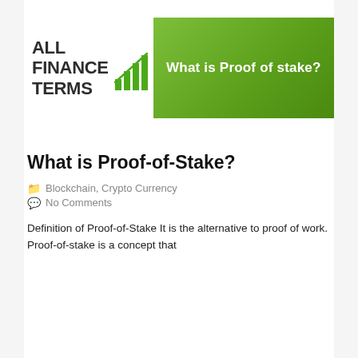[Figure (logo): All Finance Terms logo with bar chart icon and green banner reading 'What is Proof of stake?']
What is Proof-of-Stake?
Blockchain, Crypto Currency
No Comments
Definition of Proof-of-Stake It is the alternative to proof of work. Proof-of-stake is a concept that